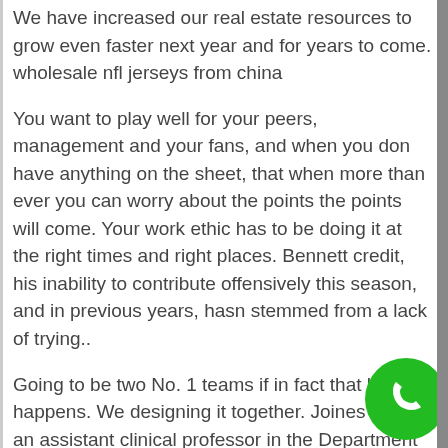We have increased our real estate resources to grow even faster next year and for years to come. wholesale nfl jerseys from china
You want to play well for your peers, management and your fans, and when you don have anything on the sheet, that when more than ever you can worry about the points the points will come. Your work ethic has to be doing it at the right times and right places. Bennett credit, his inability to contribute offensively this season, and in previous years, hasn stemmed from a lack of trying..
Going to be two No. 1 teams if in fact that how it happens. We designing it together. Joines MD, is an assistant clinical professor in the Department of Radiologic Sciences here at UCLA. She received her medical degree from the Medical College of Wisconsin in 2005. Since then, she has completed her residency in
[Figure (other): Green circular phone/call button icon in the bottom-right area of the page]